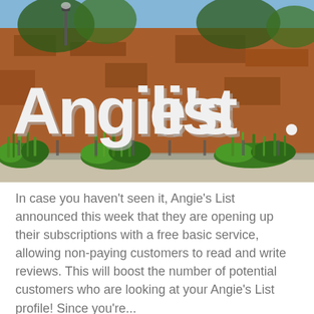[Figure (photo): Outdoor photo of large 3D white letters spelling 'Angie's list' mounted on a rusted metal wall/fence, with green grass and plants at the base and a blue sky with trees in the background.]
In case you haven't seen it, Angie's List announced this week that they are opening up their subscriptions with a free basic service, allowing non-paying customers to read and write reviews. This will boost the number of potential customers who are looking at your Angie's List profile! Since you're...